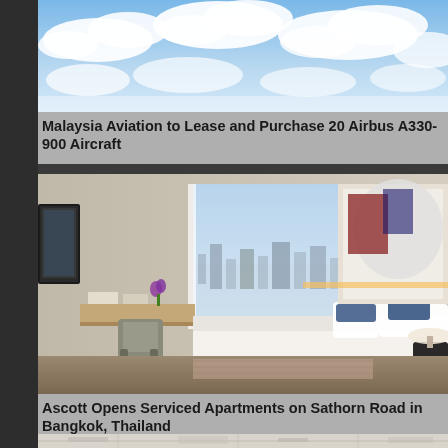[Figure (photo): Sky with clouds — top image for aviation article]
Malaysia Aviation to Lease and Purchase 20 Airbus A330-900 Aircraft
[Figure (photo): Luxury hotel room with city skyline view — Ascott serviced apartments Bangkok]
Ascott Opens Serviced Apartments on Sathorn Road in Bangkok, Thailand
[Figure (photo): Map image partially visible at bottom of page]